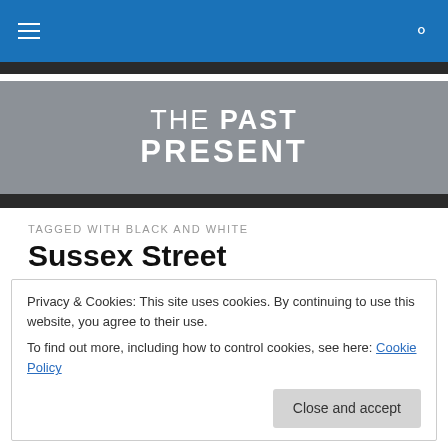THE PAST PRESENT — navigation bar with hamburger menu and search icon
[Figure (logo): THE PAST PRESENT logo on gray background — THE in light weight, PAST in bold on first line, PRESENT in bold on second line, white text]
TAGGED WITH BLACK AND WHITE
Sussex Street
Privacy & Cookies: This site uses cookies. By continuing to use this website, you agree to their use.
To find out more, including how to control cookies, see here: Cookie Policy
Close and accept